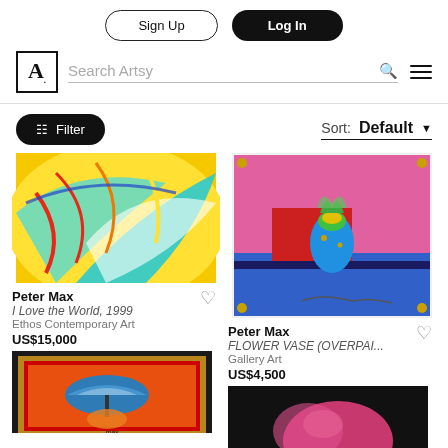Sign Up | Log In
Search Artsy
Filter  Sort: Default
[Figure (photo): Colorful abstract swirling painting by Peter Max, I Love the World 1999]
Peter Max
I Love the World, 1999
Ethos Contemporary Art
US$15,000
[Figure (photo): Colorful painting of flower vase by Peter Max, FLOWER VASE (OVERPAI...), Gallery Art]
Peter Max
FLOWER VASE (OVERPAI...
Gallery Art
US$4,500
[Figure (photo): Peter Max umbrella man painting with black frame on red background]
[Figure (photo): Dark image with pink abstract shape, possibly another Peter Max work]